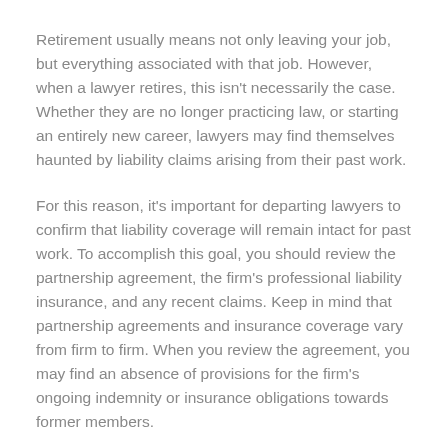Retirement usually means not only leaving your job, but everything associated with that job. However, when a lawyer retires, this isn't necessarily the case. Whether they are no longer practicing law, or starting an entirely new career, lawyers may find themselves haunted by liability claims arising from their past work.
For this reason, it's important for departing lawyers to confirm that liability coverage will remain intact for past work. To accomplish this goal, you should review the partnership agreement, the firm's professional liability insurance, and any recent claims. Keep in mind that partnership agreements and insurance coverage vary from firm to firm. When you review the agreement, you may find an absence of provisions for the firm's ongoing indemnity or insurance obligations towards former members.